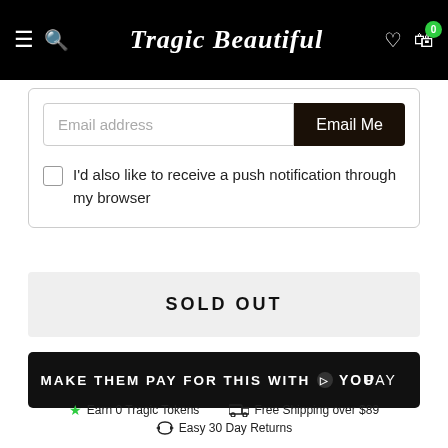Tragic Beautiful
Email address
Email Me
I'd also like to receive a push notification through my browser
SOLD OUT
MAKE THEM PAY FOR THIS WITH youpay
Earn 0 Tragic Tokens
Free Shipping over $89
Easy 30 Day Returns